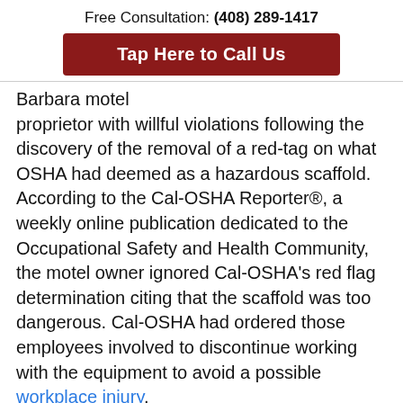Free Consultation: (408) 289-1417
Tap Here to Call Us
Barbara motel proprietor with willful violations following the discovery of the removal of a red-tag on what OSHA had deemed as a hazardous scaffold. According to the Cal-OSHA Reporter®, a weekly online publication dedicated to the Occupational Safety and Health Community, the motel owner ignored Cal-OSHA's red flag determination citing that the scaffold was too dangerous. Cal-OSHA had ordered those employees involved to discontinue working with the equipment to avoid a possible workplace injury.